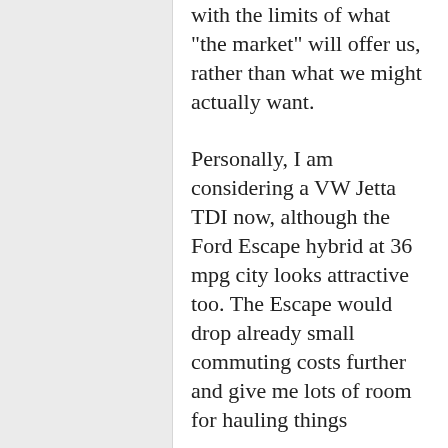with the limits of what "the market" will offer us, rather than what we might actually want.

Personally, I am considering a VW Jetta TDI now, although the Ford Escape hybrid at 36 mpg city looks attractive too. The Escape would drop already small commuting costs further and give me lots of room for hauling things